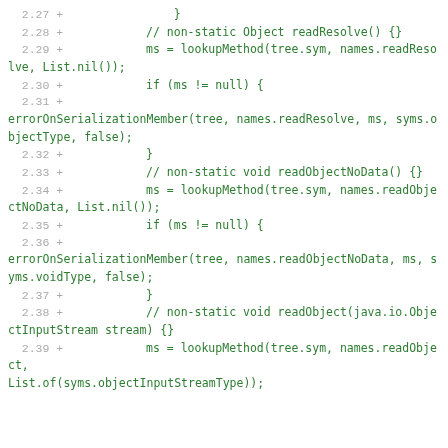[Figure (screenshot): Code diff snippet showing Java serialization-related methods with green added lines and gray line numbers. Lines 2.27 through 2.39 shown.]